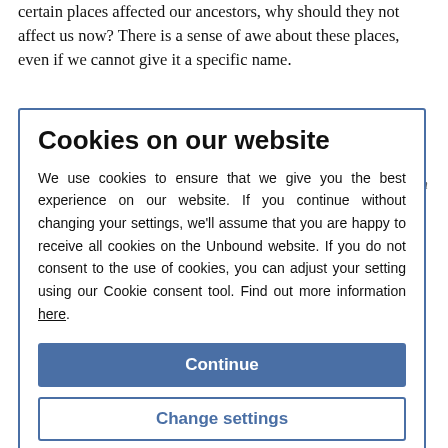certain places affected our ancestors, why should they not affect us now? There is a sense of awe about these places, even if we cannot give it a specific name.
I've always wanted to find an explanation of the sense of the religious," Garner says. "I don't mean organised religion. What I do mean is the sense of something. Whenever I look at land, I'm always aware that wherever I looked or read, there seemed to be no group in the world that didn't express this in some form. I didn't go along with the notion, simply, there is a God - but there's something. There's a line in Horace: 'I don't know what god there is in him, but there is a god'.
Cookies on our website
We use cookies to ensure that we give you the best experience on our website. If you continue without changing your settings, we'll assume that you are happy to receive all cookies on the Unbound website. If you do not consent to the use of cookies, you can adjust your setting using our Cookie consent tool. Find out more information here.
Continue
Change settings
"What god?" is a good question, and where Thursbitch - book and place - is concerned. Also in the valley is a squat block of sandstone, about the size of a sheep. It is not native to the valley; it would have to have been transported, up and downhill, to this field. Garner and Griselda first spotted it in 1999. "At first I thought it